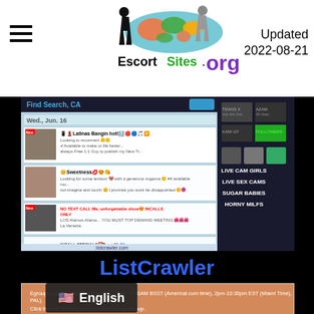[Figure (logo): EscortSites.org logo with world map graphic, silhouette figures, and colorful text]
Updated
2022-08-21
[Figure (screenshot): Screenshot of ListCrawler website showing classified listings with thumbnails, sidebar with Live Cam Girls, Live Sex Cams, Sugar Babies, Horny Milfs links]
ListCrawler
[Figure (screenshot): Second screenshot showing an adult classified site with orange notification bar, English language selector, and Find your free ad now button]